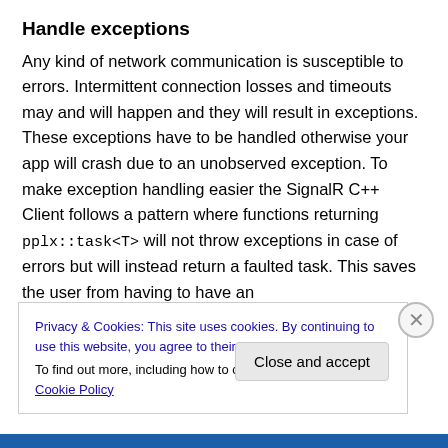Handle exceptions
Any kind of network communication is susceptible to errors. Intermittent connection losses and timeouts may and will happen and they will result in exceptions. These exceptions have to be handled otherwise your app will crash due to an unobserved exception. To make exception handling easier the SignalR C++ Client follows a pattern where functions returning pplx::task<T> will not throw exceptions in case of errors but will instead return a faulted task. This saves the user from having to have an
Privacy & Cookies: This site uses cookies. By continuing to use this website, you agree to their use.
To find out more, including how to control cookies, see here: Cookie Policy